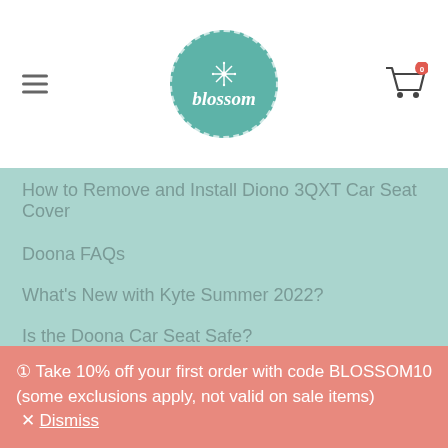[Figure (logo): Blossom store logo: teal circle with dashed white border, snowflake icon and italic 'blossom' text in white]
How to Remove and Install Diono 3QXT Car Seat Cover
Doona FAQs
What's New with Kyte Summer 2022?
Is the Doona Car Seat Safe?
New Tripp Trapp Cushions
① Take 10% off your first order with code BLOSSOM10 (some exclusions apply, not valid on sale items) × Dismiss